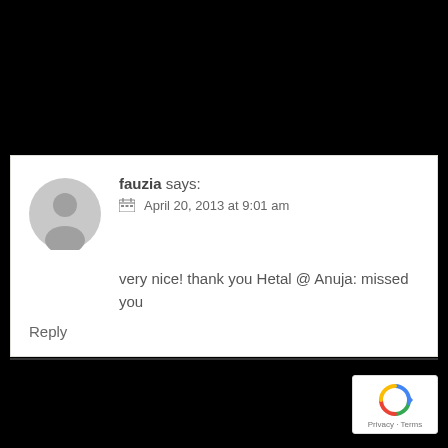fauzia says:
📅 April 20, 2013 at 9:01 am

very nice! thank you Hetal @ Anuja: missed you
Reply
[Figure (logo): reCAPTCHA badge with circular arrow icon and 'Privacy · Terms' text]